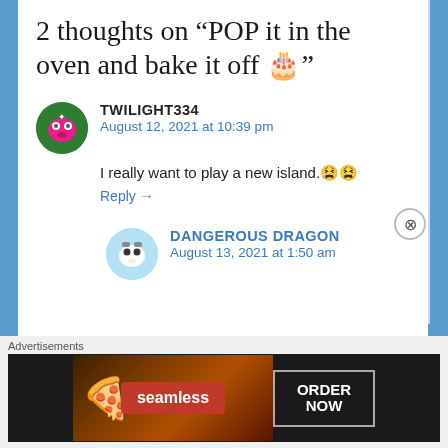2 thoughts on “POP it in the oven and bake it off 🎂”
TWILIGHT334
August 12, 2021 at 10:39 pm
I really want to play a new island.😫😫
Reply →
DANGEROUS DRAGON
August 13, 2021 at 1:50 am
Advertisements
[Figure (other): Seamless food delivery advertisement banner with pizza image, red Seamless logo badge, and ORDER NOW button]